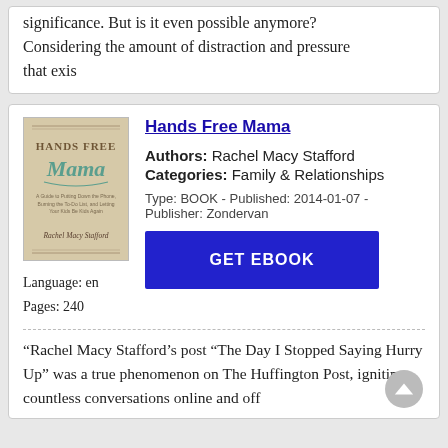significance. But is it even possible anymore? Considering the amount of distraction and pressure that exis
Hands Free Mama
[Figure (illustration): Book cover of 'Hands Free Mama' by Rachel Macy Stafford, with decorative text design]
Authors: Rachel Macy Stafford
Categories: Family & Relationships
Type: BOOK - Published: 2014-01-07 - Publisher: Zondervan
Language: en
Pages: 240
GET EBOOK
“Rachel Macy Stafford's post "The Day I Stopped Saying Hurry Up" was a true phenomenon on The Huffington Post, igniting countless conversations online and off